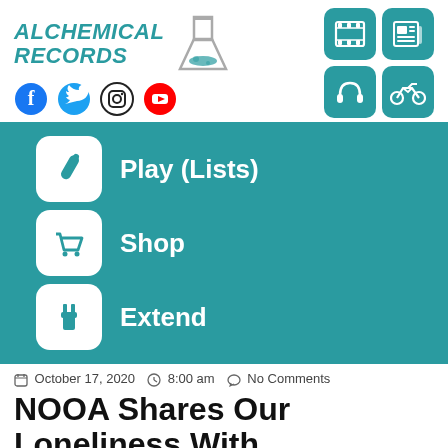[Figure (logo): Alchemical Records logo with flask icon and social media icons (Facebook, Twitter, Instagram, YouTube), plus navigation icon grid (film, newspaper, headphones, motorcycle)]
[Figure (infographic): Teal banner with three navigation items: Play (Lists) with pencil/test-tube icon, Shop with shopping cart icon, Extend with plug icon]
October 17, 2020  8:00 am  No Comments
NOOA Shares Our Loneliness With